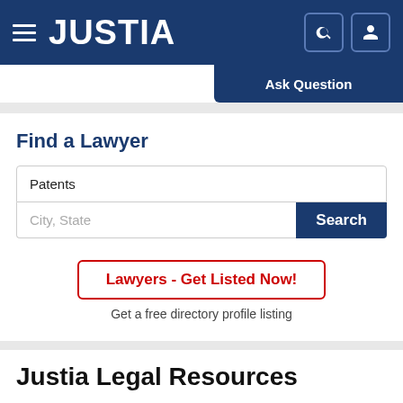JUSTIA
Ask Question
Find a Lawyer
Patents
City, State
Search
Lawyers - Get Listed Now!
Get a free directory profile listing
Justia Legal Resources